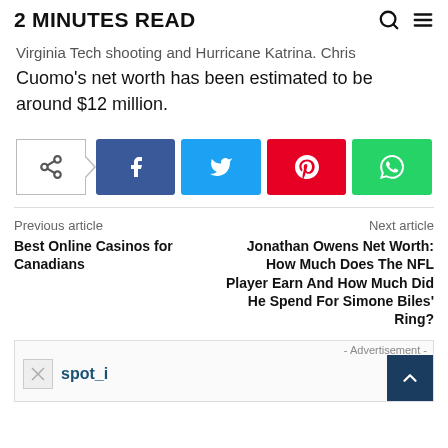2 MINUTES READ
Virginia Tech shooting and Hurricane Katrina. Chris Cuomo's net worth has been estimated to be around $12 million.
[Figure (infographic): Social share bar with share icon, Facebook, Twitter, Pinterest, and WhatsApp buttons]
Previous article
Best Online Casinos for Canadians
Next article
Jonathan Owens Net Worth: How Much Does The NFL Player Earn And How Much Did He Spend For Simone Biles' Ring?
[Figure (infographic): Advertisement section with - Advertisement - label, broken image placeholder, and spot_i text]